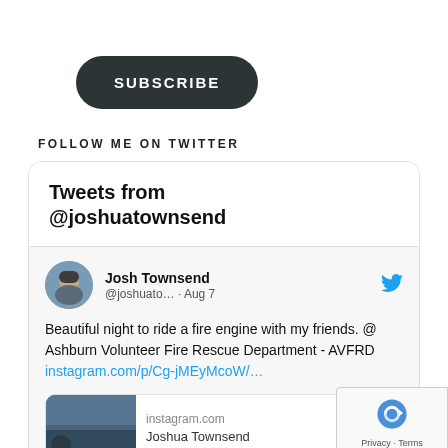SUBSCRIBE
FOLLOW ME ON TWITTER
[Figure (screenshot): Twitter widget showing 'Tweets from @joshuatownsend' with a tweet by Josh Townsend (@joshuato... · Aug 7) reading 'Beautiful night to ride a fire engine with my friends. @ Ashburn Volunteer Fire Rescue Department - AVFRD instagram.com/p/Cg-jMEyMcoW/...' and a preview card showing instagram.com and 'Joshua Townsend']